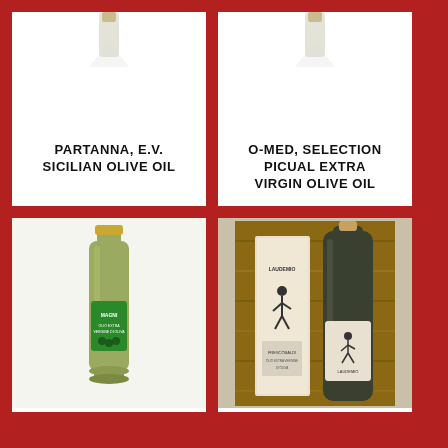[Figure (illustration): Top portion of olive oil bottle partially visible at top of card]
PARTANNA, E.V. SICILIAN OLIVE OIL
[Figure (illustration): Top portion of olive oil bottle partially visible at top of card]
O-MED, SELECTION PICUAL EXTRA VIRGIN OLIVE OIL
[Figure (photo): Magni brand extra virgin olive oil bottle, large format, green glass with gold cap and green label]
MAGNI, TUSCAN EXTRA VIRGIN OLIVE OIL
[Figure (photo): Laudemio Frescobaldi extra virgin olive oil - box packaging and dark glass bottle with cork stopper, wooden background]
E.V. LAUDEMIO FRESCOBALDI